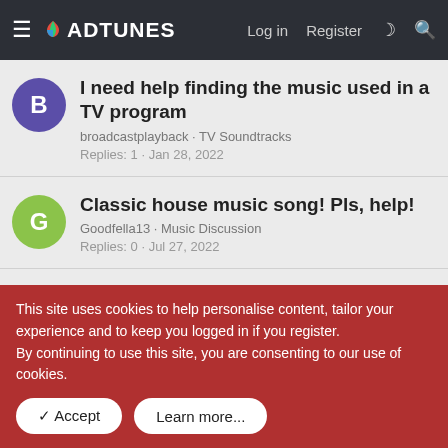ADTUNES — Log in  Register
I need help finding the music used in a TV program
broadcastplayback · TV Soundtracks
Replies: 1 · Jan 28, 2022
Classic house music song! Pls, help!
Goodfella13 · Music Discussion
Replies: 0 · Jul 27, 2022
Captain Underpants The First Epic Movie
KSCG Guy14 · Movie Trailer Music
Replies: 1 · Oct 24, 2021
This site uses cookies to help personalise content, tailor your experience and to keep you logged in if you register.
By continuing to use this site, you are consenting to our use of cookies.